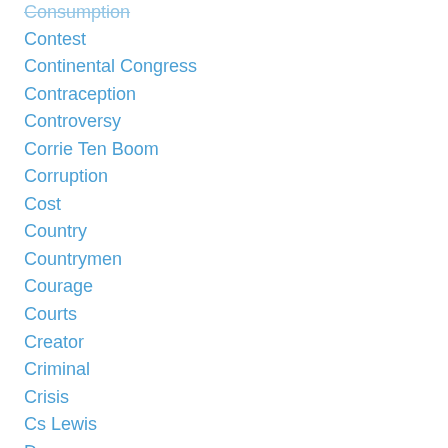Consumption
Contest
Continental Congress
Contraception
Controversy
Corrie Ten Boom
Corruption
Cost
Country
Countrymen
Courage
Courts
Creator
Criminal
Crisis
Cs Lewis
Danger
Daniel Webster
Dave Racer
David Berman
Davy Crockett